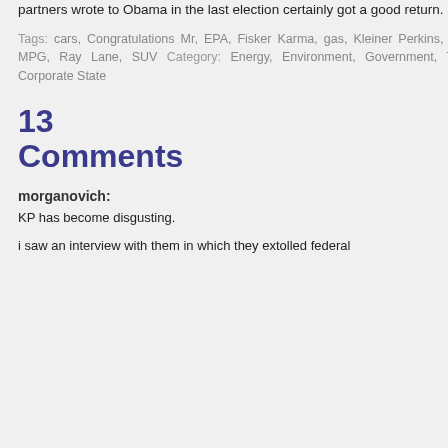partners wrote to Obama in the last election certainly got a good return.
Tags: cars, Congratulations Mr, EPA, Fisker Karma, gas, Kleiner Perkins, KP, MPG, Ray Lane, SUV Category: Energy, Environment, Government, The Corporate State
13 Comments
morganovich:
KP has become disgusting.
i saw an interview with them in which they extolled federal
Houston Clear Thinkers
Instapundit
John Stossel
Junkscience.com
Kevin Drum
Knitted Handbag Patterns
Libertarian Blog Feed Aggregator
Liberty Papers
Maggie's Farm
Marginal Revolution
Popehat
Power Line
Professor Bainbridge
QandO
Radley Balko
Recreation News
Valley Fever
Virginia Postrel
Volokh Conspiracy
RECREATION LINKS